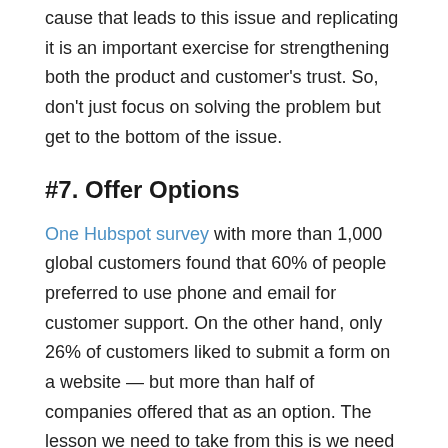cause that leads to this issue and replicating it is an important exercise for strengthening both the product and customer's trust. So, don't just focus on solving the problem but get to the bottom of the issue.
#7. Offer Options
One Hubspot survey with more than 1,000 global customers found that 60% of people preferred to use phone and email for customer support. On the other hand, only 26% of customers liked to submit a form on a website — but more than half of companies offered that as an option. The lesson we need to take from this is we need to offer as many communication channels as our customers prefer to have without sacrificing the managerial or data collection issues that come with it.